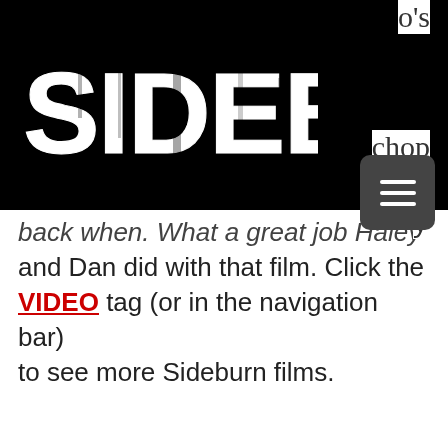[Figure (logo): Sideburn logo in white distressed text on black background]
o's
chop
y
[Figure (other): Hamburger menu button (three horizontal lines) on dark rounded square]
back when. What a great job Haley and Dan did with that film. Click the VIDEO tag (or in the navigation bar) to see more Sideburn films.